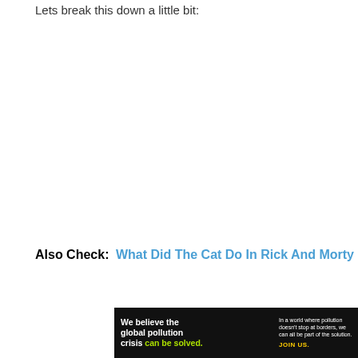Lets break this down a little bit:
Also Check:  What Did The Cat Do In Rick And Morty
[Figure (other): Advertisement banner for Pure Earth organization. Left dark section reads 'We believe the global pollution crisis can be solved.' with 'can be solved.' in green. Middle dark section reads 'In a world where pollution doesn't stop at borders, we can all be part of the solution. JOIN US.' in yellow. Right white section shows the Pure Earth logo (diamond/chevron icon in orange/gold) and the text 'PURE EARTH' in bold black.]